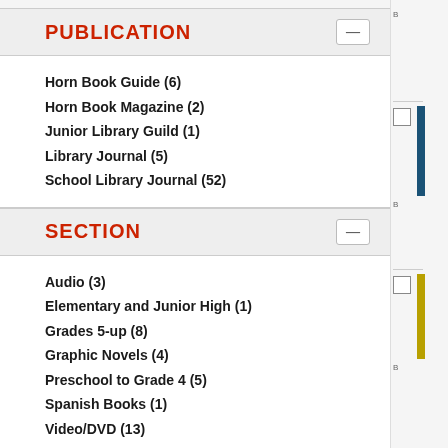PUBLICATION
Horn Book Guide (6)
Horn Book Magazine (2)
Junior Library Guild (1)
Library Journal (5)
School Library Journal (52)
SECTION
Audio (3)
Elementary and Junior High (1)
Grades 5-up (8)
Graphic Novels (4)
Preschool to Grade 4 (5)
Spanish Books (1)
Video/DVD (13)
MATERIAL